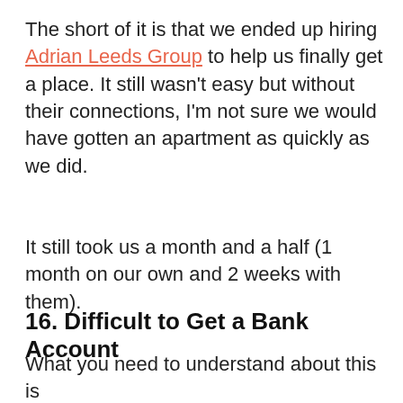The short of it is that we ended up hiring Adrian Leeds Group to help us finally get a place. It still wasn't easy but without their connections, I'm not sure we would have gotten an apartment as quickly as we did.
It still took us a month and a half (1 month on our own and 2 weeks with them).
16. Difficult to Get a Bank Account
What you need to understand about this is that because we are American and we will